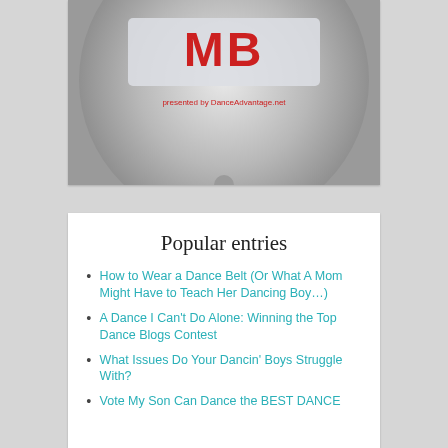[Figure (photo): CD/DVD disc with red text logo and 'presented by DanceAdvantage.net' text on a gray background]
Popular entries
How to Wear a Dance Belt (Or What A Mom Might Have to Teach Her Dancing Boy…)
A Dance I Can't Do Alone: Winning the Top Dance Blogs Contest
What Issues Do Your Dancin' Boys Struggle With?
Vote My Son Can Dance the BEST DANCE